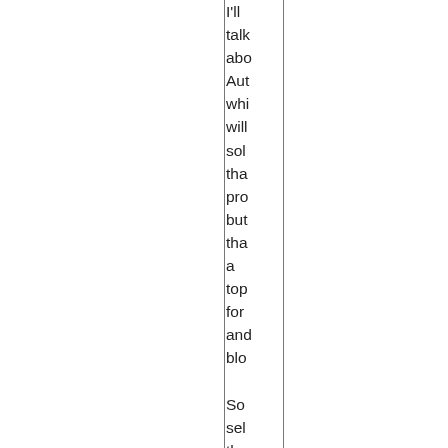I'll talk about Aut whi will sol tha pro but tha a top for and blo

So sel the tab Let say tha